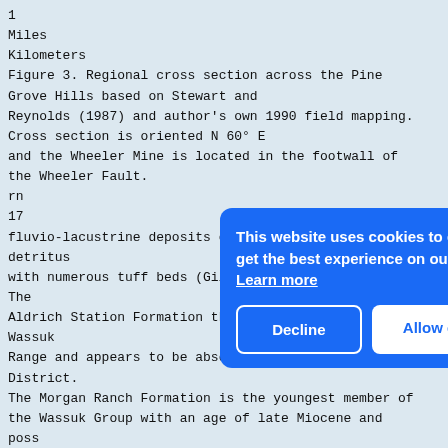1
Miles
Kilometers
Figure 3. Regional cross section across the Pine Grove Hills based on Stewart and
Reynolds (1987) and author's own 1990 field mapping.
Cross section is oriented N 60° E
and the Wheeler Mine is located in the footwall of the Wheeler Fault.
rn
17
fluvio-lacustrine deposits composed of andesitic detritus
with numerous tuff beds (Gilbert and Reynolds, 1973). The
Aldrich Station Formation thins northward along the Wassuk
Range and appears to be absent around the Pine Grove District.
The Morgan Ranch Formation is the youngest member of the Wassuk Group with an age of late Miocene and
poss
Plio
Pine
Grow
cons
of c
bloc
with
Axel
(195
near the
Pine Grove District was approximately 1,225 m thick
[Figure (screenshot): Cookie consent banner overlay with blue background. Message reads: 'This website uses cookies to ensure you get the best experience on our website. Learn more'. Two buttons: 'Decline' (outlined, white text) and 'Allow cookies' (white button, blue text).]